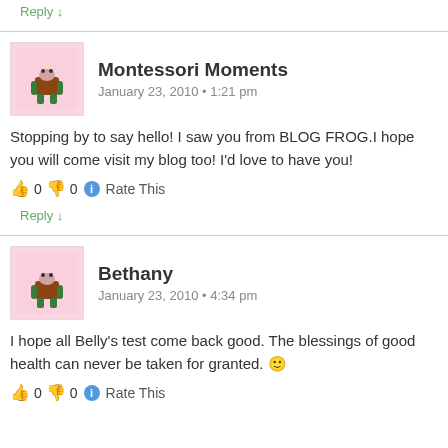Reply ↓
Montessori Moments
January 23, 2010 • 1:21 pm
Stopping by to say hello! I saw you from BLOG FROG.I hope you will come visit my blog too! I'd love to have you!
👍 0 👎 0 ℹ Rate This
Reply ↓
Bethany
January 23, 2010 • 4:34 pm
I hope all Belly's test come back good. The blessings of good health can never be taken for granted. 🙂
👍 0 👎 0 ℹ Rate This